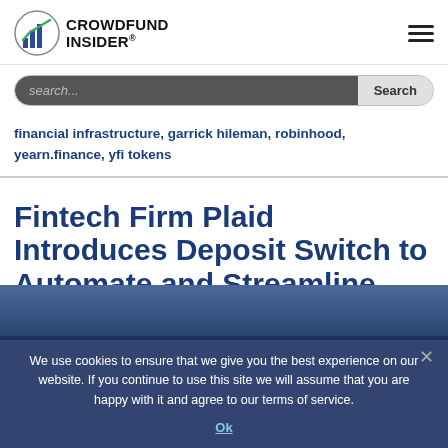CROWDFUND INSIDER
search...
financial infrastructure, garrick hileman, robinhood, yearn.finance, yfi tokens
Fintech Firm Plaid Introduces Deposit Switch to Automate and Streamline Account Funding
We use cookies to ensure that we give you the best experience on our website. If you continue to use this site we will assume that you are happy with it and agree to our terms of service.